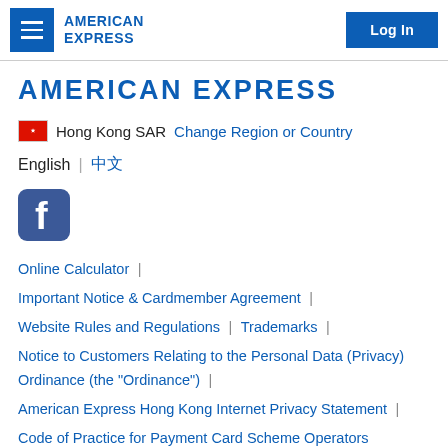AMERICAN EXPRESS | Log In
AMERICAN EXPRESS
🇭🇰 Hong Kong SAR  Change Region or Country
English | 中文
[Figure (logo): Facebook logo icon]
Online Calculator |
Important Notice & Cardmember Agreement |
Website Rules and Regulations | Trademarks |
Notice to Customers Relating to the Personal Data (Privacy) Ordinance (the "Ordinance") |
American Express Hong Kong Internet Privacy Statement |
Code of Practice for Payment Card Scheme Operators